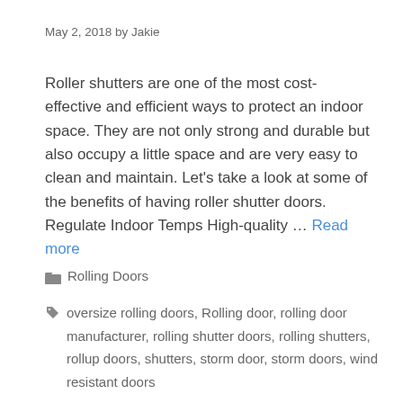May 2, 2018 by Jakie
Roller shutters are one of the most cost-effective and efficient ways to protect an indoor space. They are not only strong and durable but also occupy a little space and are very easy to clean and maintain. Let’s take a look at some of the benefits of having roller shutter doors. Regulate Indoor Temps High-quality … Read more
Rolling Doors
oversize rolling doors, Rolling door, rolling door manufacturer, rolling shutter doors, rolling shutters, rollup doors, shutters, storm door, storm doors, wind resistant doors